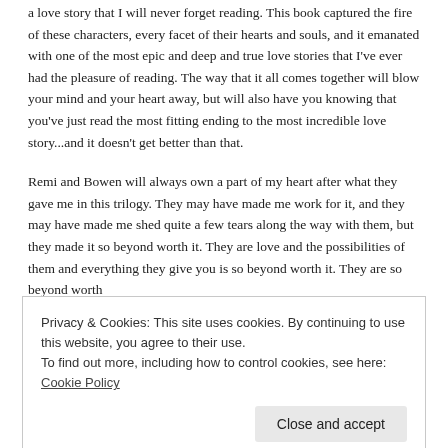a love story that I will never forget reading. This book captured the fire of these characters, every facet of their hearts and souls, and it emanated with one of the most epic and deep and true love stories that I've ever had the pleasure of reading. The way that it all comes together will blow your mind and your heart away, but will also have you knowing that you've just read the most fitting ending to the most incredible love story...and it doesn't get better than that.
Remi and Bowen will always own a part of my heart after what they gave me in this trilogy. They may have made me work for it, and they may have made me shed quite a few tears along the way with them, but they made it so beyond worth it. They are love and the possibilities of them and everything they give you is so beyond worth it. They are so beyond worth
Privacy & Cookies: This site uses cookies. By continuing to use this website, you agree to their use.
To find out more, including how to control cookies, see here: Cookie Policy
So much glorious everything that will give the world and them and their